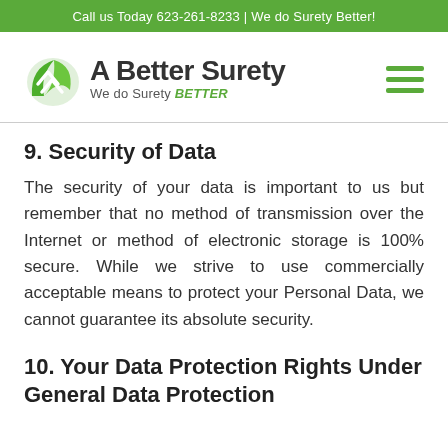Call us Today 623-261-8233 | We do Surety Better!
[Figure (logo): A Better Surety logo with green leaf/arrow icon, company name 'A Better Surety' in bold dark text, and tagline 'We do Surety BETTER' in dark/green text]
9. Security of Data
The security of your data is important to us but remember that no method of transmission over the Internet or method of electronic storage is 100% secure. While we strive to use commercially acceptable means to protect your Personal Data, we cannot guarantee its absolute security.
10. Your Data Protection Rights Under General Data Protection